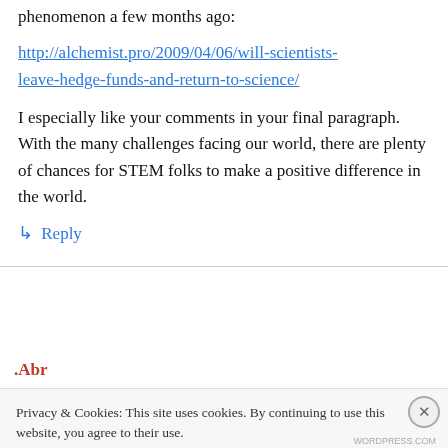phenomenon a few months ago:
http://alchemist.pro/2009/04/06/will-scientists-leave-hedge-funds-and-return-to-science/
I especially like your comments in your final paragraph. With the many challenges facing our world, there are plenty of chances for STEM folks to make a positive difference in the world.
↳ Reply
Privacy & Cookies: This site uses cookies. By continuing to use this website, you agree to their use.
To find out more, including how to control cookies, see here: Cookie Policy
Close and accept